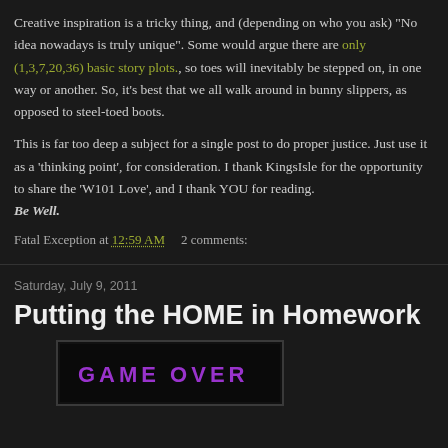Creative inspiration is a tricky thing, and (depending on who you ask) "No idea nowadays is truly unique". Some would argue there are only (1,3,7,20,36) basic story plots., so toes will inevitably be stepped on, in one way or another. So, it's best that we all walk around in bunny slippers, as opposed to steel-toed boots.

This is far too deep a subject for a single post to do proper justice. Just use it as a 'thinking point', for consideration. I thank KingsIsle for the opportunity to share the 'W101 Love', and I thank YOU for reading.
Be Well.
Fatal Exception at 12:59 AM  2 comments:
Saturday, July 9, 2011
Putting the HOME in Homework
[Figure (screenshot): Partial game screenshot showing colorful text on dark background]